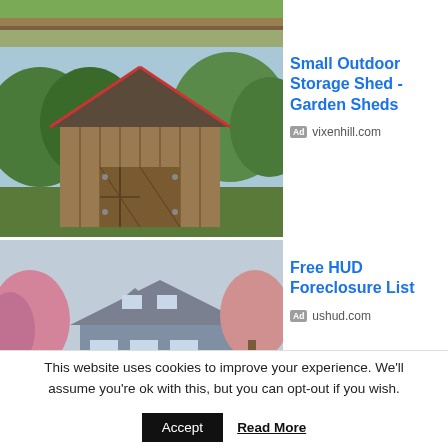[Figure (photo): Cropped top portion of a garden/yard photo with green foliage and wooden border]
[Figure (photo): Old weathered wooden barn surrounded by green trees and garden]
Small Outdoor Storage Shed - Garden Sheds
Ad vixenhill.com
[Figure (photo): Suburban house with gray roof and pink flowering trees in front yard]
Free HUD Foreclosure List
Ad ushud.com
This website uses cookies to improve your experience. We'll assume you're ok with this, but you can opt-out if you wish.
Accept
Read More